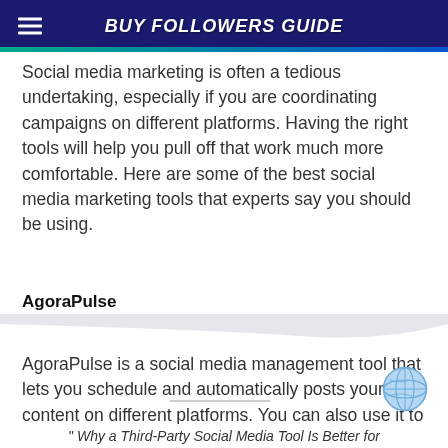BUY FOLLOWERS GUIDE
Social media marketing is often a tedious undertaking, especially if you are coordinating campaigns on different platforms. Having the right tools will help you pull off that work much more comfortable. Here are some of the best social media marketing tools that experts say you should be using.
AgoraPulse
AgoraPulse is a social media management tool that lets you schedule and automatically posts your content on different platforms. You can also use it to discover and monitor conversations on social media, including those that are specifically relevant to you.
" Why a Third-Party Social Media Tool Is Better for